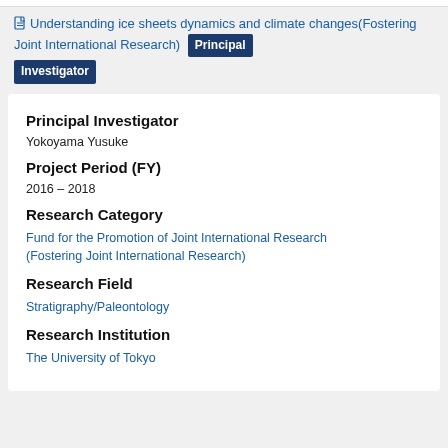Understanding ice sheets dynamics and climate changes(Fostering Joint International Research) Principal Investigator
Principal Investigator
Yokoyama Yusuke
Project Period (FY)
2016 – 2018
Research Category
Fund for the Promotion of Joint International Research (Fostering Joint International Research)
Research Field
Stratigraphy/Paleontology
Research Institution
The University of Tokyo